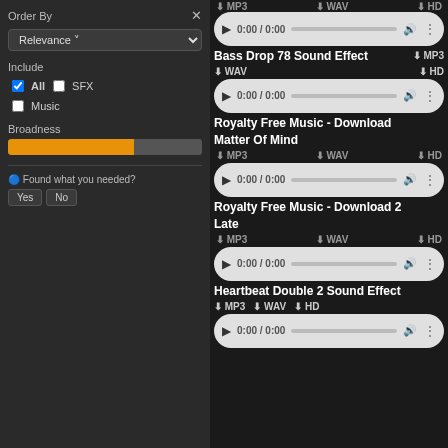Order By
Relevance
Include
All  SFX
Music
Broadness
Found what you needed?  Yes  No
Bass Drop 78 Sound Effect  ⬇ MP3  ⬇ WAV  ⬇ HD
[Figure (screenshot): Audio player control showing 0:00 / 0:00]
Royalty Free Music - Download Matter Of Mind  ⬇ MP3  ⬇ WAV  ⬇ HD
[Figure (screenshot): Audio player control showing 0:00 / 0:00]
Royalty Free Music - Download 2 Late  ⬇ MP3  ⬇ WAV  ⬇ HD
[Figure (screenshot): Audio player control showing 0:00 / 0:00]
Heartbeat Double 2 Sound Effect  ⬇ MP3  ⬇ WAV  ⬇ HD
[Figure (screenshot): Audio player control showing 0:00 / 0:00]